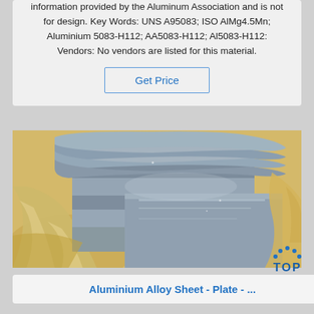information provided by the Aluminum Association and is not for design. Key Words: UNS A95083; ISO AlMg4.5Mn; Aluminium 5083-H112; AA5083-H112; Al5083-H112: Vendors: No vendors are listed for this material.
Get Price
[Figure (photo): Photo of aluminium alloy sheet/plate showing metallic reflective surface with rolled edges, placed on yellow/cream colored packaging material or plastic wrap.]
Aluminium Alloy Sheet - Plate - ...